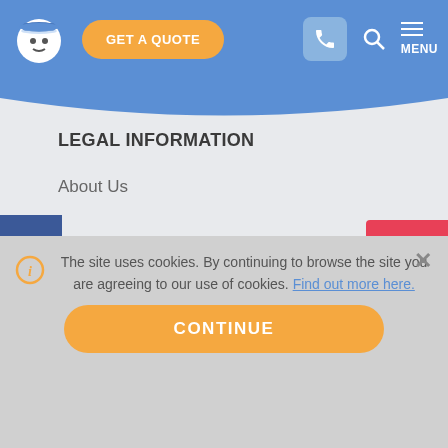GET A QUOTE | navigation header with logo, phone icon, search icon, MENU
LEGAL INFORMATION
About Us
Privacy and Cookies
Contact us
The site uses cookies. By continuing to browse the site you are agreeing to our use of cookies. Find out more here.
CONTINUE